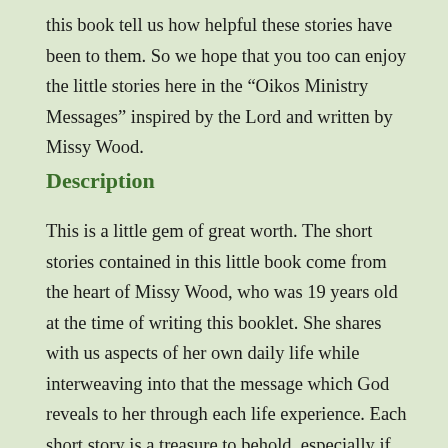this book tell us how helpful these stories have been to them. So we hope that you too can enjoy the little stories here in the “Oikos Ministry Messages” inspired by the Lord and written by Missy Wood.
Description
This is a little gem of great worth. The short stories contained in this little book come from the heart of Missy Wood, who was 19 years old at the time of writing this booklet. She shares with us aspects of her own daily life while interweaving into that the message which God reveals to her through each life experience. Each short story is a treasure to behold, especially if you apply that which strikes a chord in your own heart. May the stories